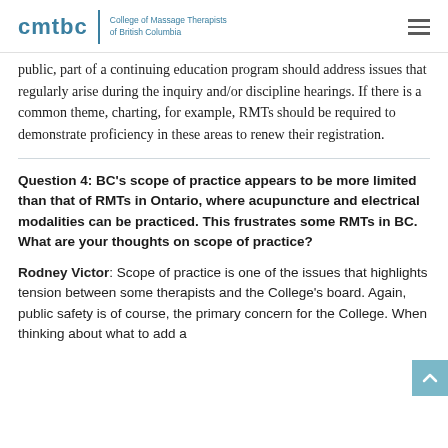cmtbc | College of Massage Therapists of British Columbia
public, part of a continuing education program should address issues that regularly arise during the inquiry and/or discipline hearings. If there is a common theme, charting, for example, RMTs should be required to demonstrate proficiency in these areas to renew their registration.
Question 4: BC’s scope of practice appears to be more limited than that of RMTs in Ontario, where acupuncture and electrical modalities can be practiced. This frustrates some RMTs in BC. What are your thoughts on scope of practice?
Rodney Victor: Scope of practice is one of the issues that highlights tension between some therapists and the College’s board. Again, public safety is of course, the primary concern for the College. When thinking about what to add a...